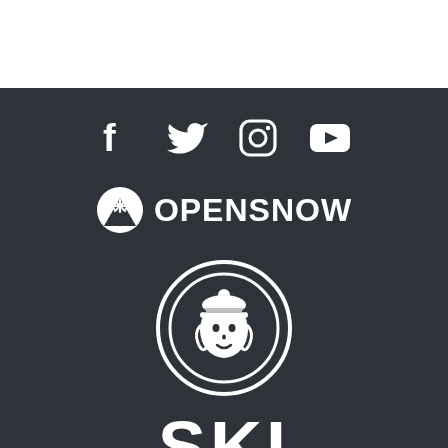[Figure (logo): Social media icons: Facebook, Twitter, Instagram, YouTube in white on dark background]
[Figure (logo): OpenSnow logo: mountain with snowflake icon and OPENSNOW text in white]
[Figure (logo): Circular ski brand logo depicting a woman in a ski hat inside concentric circles]
SKI